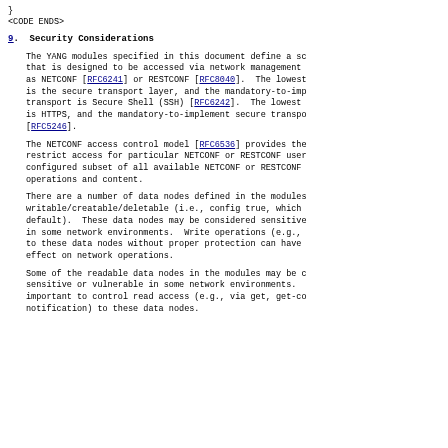}
<CODE ENDS>
9.  Security Considerations
The YANG modules specified in this document define a sc that is designed to be accessed via network management as NETCONF [RFC6241] or RESTCONF [RFC8040].  The lowest is the secure transport layer, and the mandatory-to-imp transport is Secure Shell (SSH) [RFC6242].  The lowest is HTTPS, and the mandatory-to-implement secure transpo [RFC5246].
The NETCONF access control model [RFC6536] provides the restrict access for particular NETCONF or RESTCONF user configured subset of all available NETCONF or RESTCONF operations and content.
There are a number of data nodes defined in the modules writable/creatable/deletable (i.e., config true, which default).  These data nodes may be considered sensitive in some network environments.  Write operations (e.g., to these data nodes without proper protection can have effect on network operations.
Some of the readable data nodes in the modules may be c sensitive or vulnerable in some network environments. important to control read access (e.g., via get, get-co notification) to these data nodes.